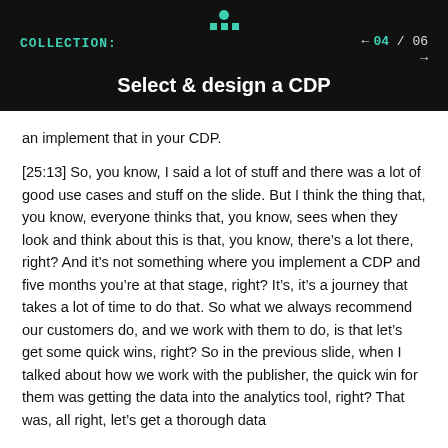COLLECTION: Select & design a CDP — 04 / 06
an implement that in your CDP.
[25:13] So, you know, I said a lot of stuff and there was a lot of good use cases and stuff on the slide. But I think the thing that, you know, everyone thinks that, you know, sees when they look and think about this is that, you know, there’s a lot there, right? And it’s not something where you implement a CDP and five months you’re at that stage, right? It’s, it’s a journey that takes a lot of time to do that. So what we always recommend our customers do, and we work with them to do, is that let’s get some quick wins, right? So in the previous slide, when I talked about how we work with the publisher, the quick win for them was getting the data into the analytics tool, right? That was, all right, let’s get a thorough data